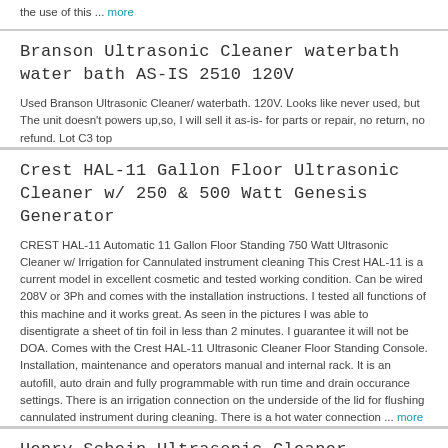the use of this ... more
Branson Ultrasonic Cleaner waterbath water bath AS-IS 2510 120V
Used Branson Ultrasonic Cleaner/ waterbath. 120V. Looks like never used, but The unit doesn't powers up,so, I will sell it as-is- for parts or repair, no return, no refund. Lot C3 top
Crest HAL-11 Gallon Floor Ultrasonic Cleaner w/ 250 & 500 Watt Genesis Generator
CREST HAL-11 Automatic 11 Gallon Floor Standing 750 Watt Ultrasonic Cleaner w/ Irrigation for Cannulated instrument cleaning This Crest HAL-11 is a current model in excellent cosmetic and tested working condition. Can be wired 208V or 3Ph and comes with the installation instructions. I tested all functions of this machine and it works great. As seen in the pictures I was able to disentigrate a sheet of tin foil in less than 2 minutes. I guarantee it will not be DOA. Comes with the Crest HAL-11 Ultrasonic Cleaner Floor Standing Console. Installation, maintenance and operators manual and internal rack. It is an autofill, auto drain and fully programmable with run time and drain occurance settings. There is an irrigation connection on the underside of the lid for flushing cannulated instrument during cleaning. There is a hot water connection ... more
Henry Schein Ultrasonic Cleaner